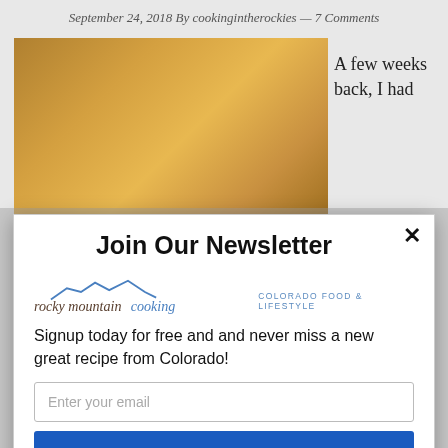September 24, 2018 By cookingintherockies — 7 Comments
[Figure (photo): Food photo showing what appears to be a baked dish, partially visible behind modal overlay]
A few weeks back, I had
Join Our Newsletter
[Figure (logo): Rocky Mountain Cooking logo with mountain silhouette in blue, text 'rocky mountain cooking' and tagline 'COLORADO FOOD & LIFESTYLE']
Signup today for free and and never miss a new great recipe from Colorado!
Enter your email
Subscribe Today!
powered by MailMunch